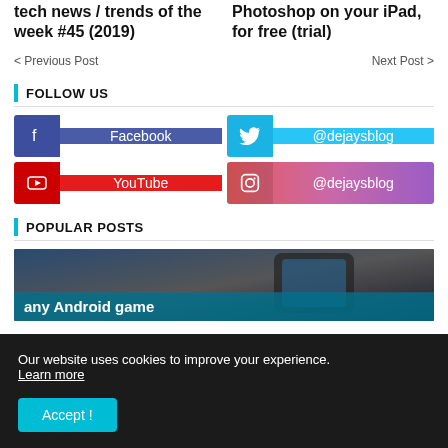tech news / trends of the week #45 (2019)
Photoshop on your iPad, for free (trial)
< Previous Post
Next Post >
FOLLOW US
Facebook
@dejaysblog
YouTube
@dejaysblog
POPULAR POSTS
[Figure (photo): Popular post thumbnail showing hands holding an Android phone, with text overlay 'any Android game']
Our website uses cookies to improve your experience. Learn more
Accept !